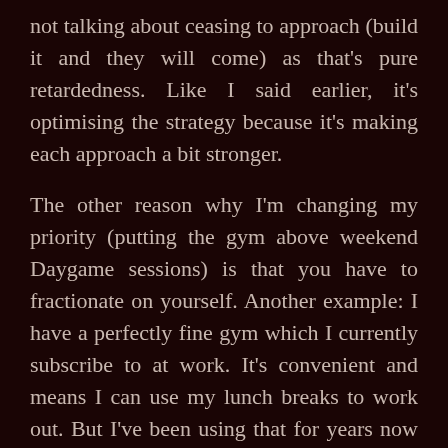not talking about ceasing to approach (build it and they will come) as that's pure retardedness. Like I said earlier, it's optimising the strategy because it's making each approach a bit stronger.
The other reason why I'm changing my priority (putting the gym above weekend Daygame sessions) is that you have to fractionate on yourself. Another example: I have a perfectly fine gym which I currently subscribe to at work. It's convenient and means I can use my lunch breaks to work out. But I've been using that for years now and I want to change it up, even if it is less efficient. At this point the buzz I'll get from doing something new will exceed the less